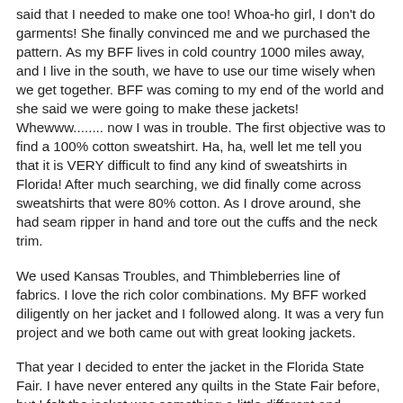said that I needed to make one too! Whoa-ho girl, I don't do garments! She finally convinced me and we purchased the pattern. As my BFF lives in cold country 1000 miles away, and I live in the south, we have to use our time wisely when we get together. BFF was coming to my end of the world and she said we were going to make these jackets! Whewww........ now I was in trouble. The first objective was to find a 100% cotton sweatshirt. Ha, ha, well let me tell you that it is VERY difficult to find any kind of sweatshirts in Florida! After much searching, we did finally come across sweatshirts that were 80% cotton. As I drove around, she had seam ripper in hand and tore out the cuffs and the neck trim.
We used Kansas Troubles, and Thimbleberries line of fabrics. I love the rich color combinations. My BFF worked diligently on her jacket and I followed along. It was a very fun project and we both came out with great looking jackets.
That year I decided to enter the jacket in the Florida State Fair. I have never entered any quilts in the State Fair before, but I felt the jacket was something a little different and